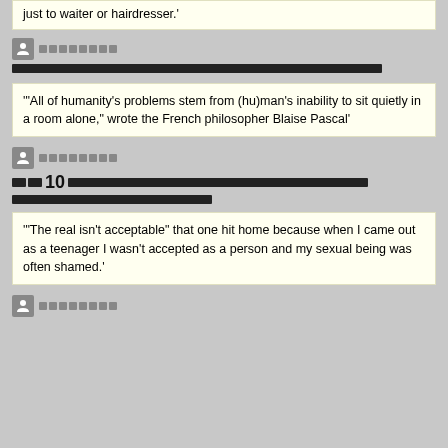just to waiter or hairdresser.'
[username redacted]
[redacted text line]
'All of humanity's problems stem from (hu)man's inability to sit quietly in a room alone," wrote the French philosopher Blaise Pascal'
[username redacted]
[redacted] 10 [redacted text lines]
'"The real isn't acceptable" that one hit home because when I came out as a teenager I wasn't accepted as a person and my sexual being was often shamed.'
[username redacted]